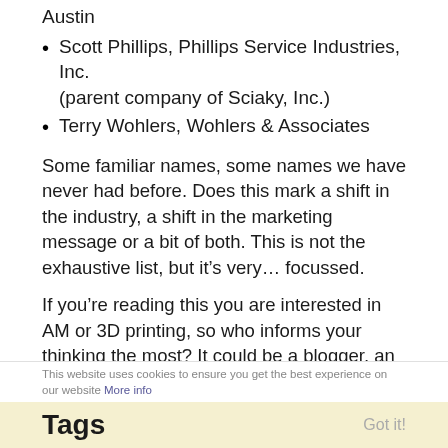Austin
Scott Phillips, Phillips Service Industries, Inc. (parent company of Sciaky, Inc.)
Terry Wohlers, Wohlers & Associates
Some familiar names, some names we have never had before. Does this mark a shift in the industry, a shift in the marketing message or a bit of both. This is not the exhaustive list, but it’s very… focussed.
If you’re reading this you are interested in AM or 3D printing, so who informs your thinking the most? It could be a blogger, an industry commentator or the head of company. It could be a designer that you think is pushing the boundaries of the technology or an educator who is bringing the technology to the next generation.
To cast your vote please visit the SurveyMonkey page HERE.
This website uses cookies to ensure you get the best experience on our website More info
Tags